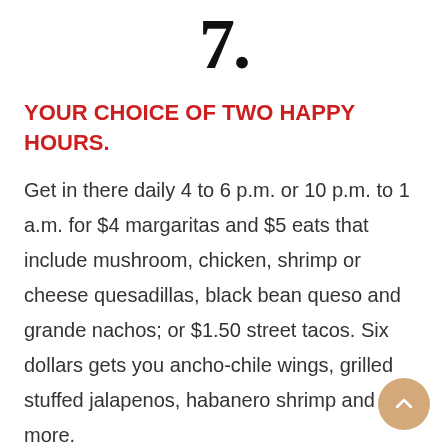7.
YOUR CHOICE OF TWO HAPPY HOURS.
Get in there daily 4 to 6 p.m. or 10 p.m. to 1 a.m. for $4 margaritas and $5 eats that include mushroom, chicken, shrimp or cheese quesadillas, black bean queso and grande nachos; or $1.50 street tacos. Six dollars gets you ancho-chile wings, grilled stuffed jalapenos, habanero shrimp and more.